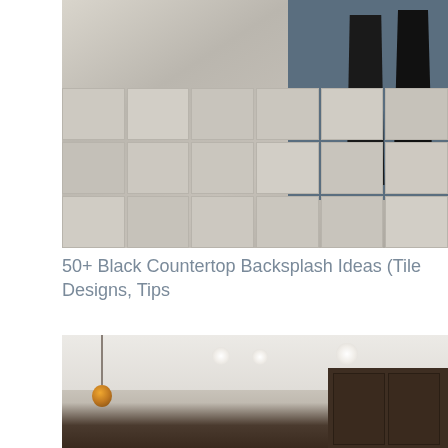[Figure (photo): Kitchen interior photo showing gray large-format tile floor in herringbone/offset pattern, dark blue-gray kitchen island with black metal bar stools]
50+ Black Countertop Backsplash Ideas (Tile Designs, Tips
[Figure (photo): Kitchen interior photo showing white ceiling with recessed lights, dark brown wood cabinets, and a pendant light with amber glass globe]